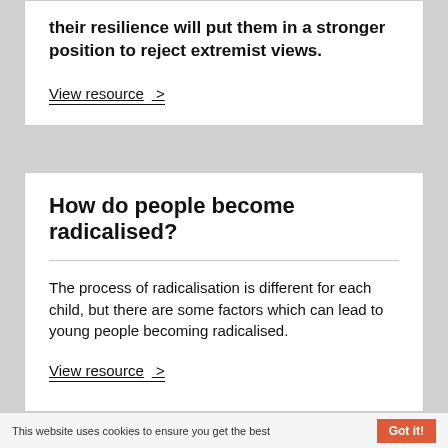their resilience will put them in a stronger position to reject extremist views.
View resource >
How do people become radicalised?
The process of radicalisation is different for each child, but there are some factors which can lead to young people becoming radicalised.
View resource >
This website uses cookies to ensure you get the best   Got it!